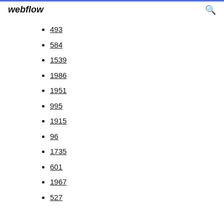webflow
493
584
1539
1986
1951
995
1915
96
1735
601
1967
527